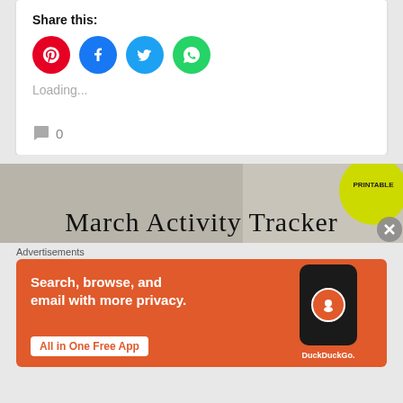Share this:
[Figure (screenshot): Social share buttons: Pinterest (red), Facebook (blue), Twitter (light blue), WhatsApp (green)]
Loading...
0
[Figure (screenshot): March Activity Tracker promotional banner with PRINTABLE badge]
Advertisements
[Figure (screenshot): DuckDuckGo advertisement: Search, browse, and email with more privacy. All in One Free App]